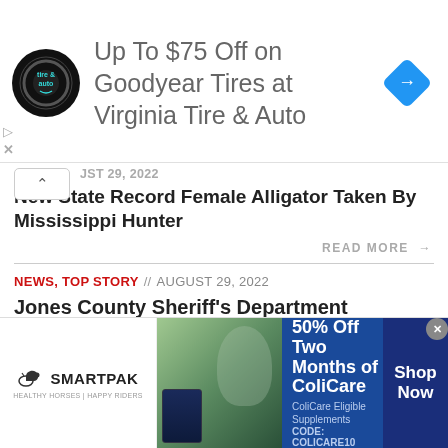[Figure (infographic): Advertisement banner: circular tire & auto logo, text 'Up To $75 Off on Goodyear Tires at Virginia Tire & Auto', blue diamond direction icon on right]
UST 29, 2022
New State Record Female Alligator Taken By Mississippi Hunter
READ MORE →
NEWS, TOP STORY // AUGUST 29, 2022
Jones County Sheriff's Department Searching For Missing Teenager
READ MORE →
[Figure (infographic): SmartPak advertisement banner: SmartPak horse logo on left, product image and horse in center, '50% Off Two Months of ColiCare, ColiCare Eligible Supplements CODE: COLICARE10' on blue background, 'Shop Now' button]